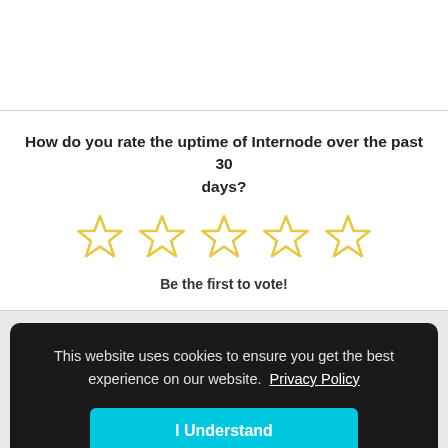How do you rate the uptime of Internode over the past 30 days?
[Figure (other): Five empty star rating icons in gold/yellow outline]
Be the first to vote!
This website uses cookies to ensure you get the best experience on our website. Privacy Policy
I Understand